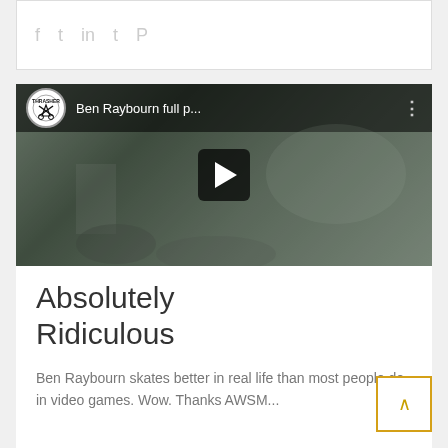[Figure (other): Social sharing icons: f (Facebook), bird (Twitter), in (LinkedIn), t (Tumblr), P (Pinterest) displayed in light gray]
[Figure (screenshot): YouTube video thumbnail showing 'Ben Raybourn full p...' with Thrasher magazine logo, play button overlay, skateboarding outdoor scene]
Absolutely Ridiculous
Ben Raybourn skates better in real life than most people do in video games. Wow. Thanks AWSM...